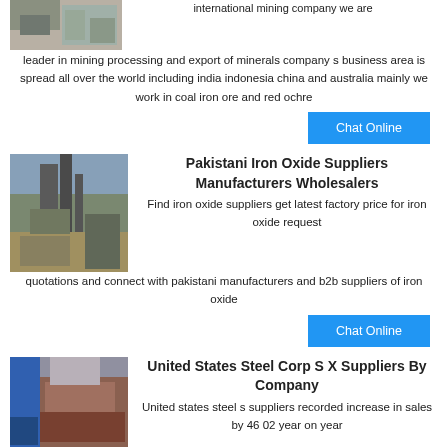[Figure (photo): Partial image of mining/industrial facility at top left]
international mining company we are leader in mining processing and export of minerals company s business area is spread all over the world including india indonesia china and australia mainly we work in coal iron ore and red ochre
Chat Online
[Figure (photo): Industrial mining plant with towers and machinery]
Pakistani Iron Oxide Suppliers Manufacturers Wholesalers
Find iron oxide suppliers get latest factory price for iron oxide request quotations and connect with pakistani manufacturers and b2b suppliers of iron oxide
Chat Online
[Figure (photo): Industrial steel/metal equipment parts]
United States Steel Corp S X Suppliers By Company
United states steel s suppliers recorded increase in sales by 46 02 year on year